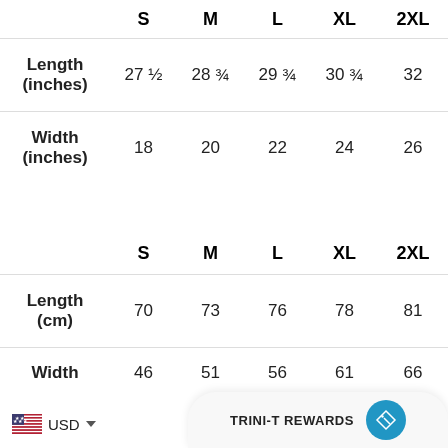|  | S | M | L | XL | 2XL |
| --- | --- | --- | --- | --- | --- |
| Length (inches) | 27 ½ | 28 ¾ | 29 ¾ | 30 ¾ | 32 |
| Width (inches) | 18 | 20 | 22 | 24 | 26 |
|  | S | M | L | XL | 2XL |
| --- | --- | --- | --- | --- | --- |
| Length (cm) | 70 | 73 | 76 | 78 | 81 |
| Width (cm) | 46 | 51 | 56 | 61 | 66 |